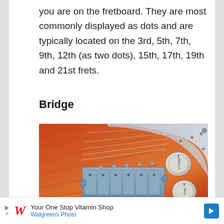you are on the fretboard. They are most commonly displayed as dots and are typically located on the 3rd, 5th, 7th, 9th, 12th (as two dots), 15th, 17th, 19th and 21st frets.
Bridge
[Figure (photo): Close-up photograph of an electric guitar bridge (tremolo/vibrato system) showing the saddles, strings, and control knobs labeled VOLUME and TONE on a sunburst-finished guitar body with a white pickguard]
Your One Stop Vitamin Shop Walgreens Photo